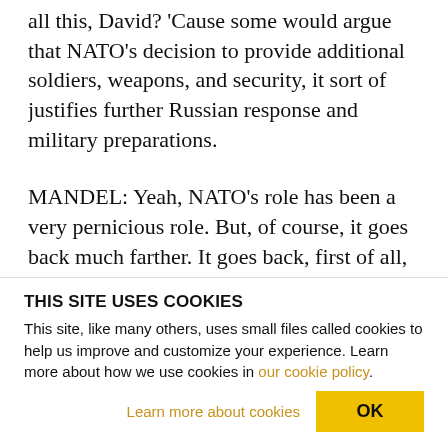all this, David? 'Cause some would argue that NATO's decision to provide additional soldiers, weapons, and security, it sort of justifies further Russian response and military preparations.
MANDEL: Yeah, NATO's role has been a very pernicious role. But, of course, it goes back much farther. It goes back, first of all, to the European Union's proposal of economic association. It's basically forced Ukraine to choose between Russia and Eu...
THIS SITE USES COOKIES
This site, like many others, uses small files called cookies to help us improve and customize your experience. Learn more about how we use cookies in our cookie policy.
Learn more about cookies
OK